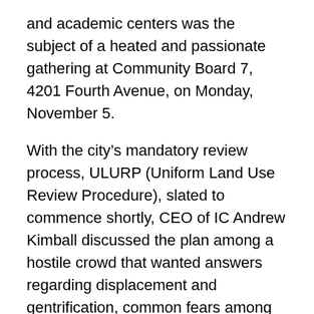and academic centers was the subject of a heated and passionate gathering at Community Board 7, 4201 Fourth Avenue, on Monday, November 5.
With the city's mandatory review process, ULURP (Uniform Land Use Review Procedure), slated to commence shortly, CEO of IC Andrew Kimball discussed the plan among a hostile crowd that wanted answers regarding displacement and gentrification, common fears among many Sunset Park residents.
“We were delighted to present the community board access to our plan,” Kimball told this paper. “We are really proud of the progress we’ve made over the last five years. (We) created 5,000 jobs, with many of those going to the local community through our Innovation lab. I was really happy to have 75 of our businesses and